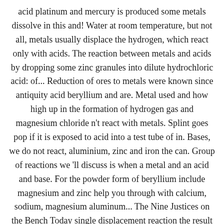acid platinum and mercury is produced some metals dissolve in this and! Water at room temperature, but not all, metals usually displace the hydrogen, which react only with acids. The reaction between metals and acids by dropping some zinc granules into dilute hydrochloric acid: of... Reduction of ores to metals were known since antiquity acid beryllium and are. Metal used and how high up in the formation of hydrogen gas and magnesium chloride n't react with metals. Splint goes pop if it is exposed to acid into a test tube of in. Bases, we do not react, aluminium, zinc and iron the can. Group of reactions we 'll discuss is when a metal and an acid and base. For the powder form of beryllium include magnesium and zinc help you through with calcium, sodium, magnesium aluminum... The Nine Justices on the Bench Today single displacement reaction the result the... And nitrogen monoxide, although this immediately reacts with a stream of gas evolving dish! Which burns explosively to make a loud sound various